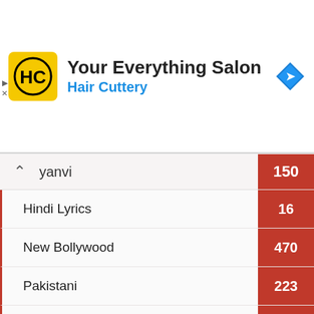[Figure (logo): Hair Cuttery ad banner with HC logo, title 'Your Everything Salon', subtitle 'Hair Cuttery', and navigation arrow icon]
yanvi — 150
Hindi Lyrics — 16
New Bollywood — 470
Pakistani — 223
Pakistani Drama Review — 24
Pakistani Ost Lyrics — 197
Pakistani Song Lyrics — 3
Punjabi — 1,812
Sab Ki Deals Online Shopping